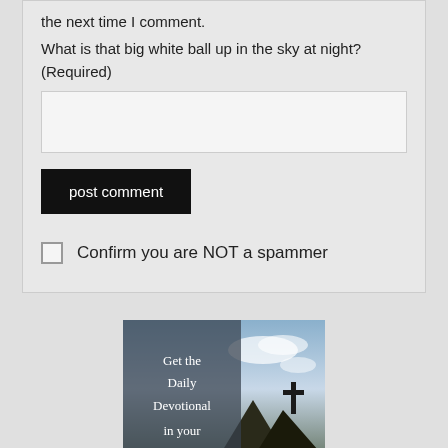the next time I comment.
What is that big white ball up in the sky at night? (Required)
[Figure (screenshot): Empty text input field for CAPTCHA answer]
[Figure (screenshot): Black 'post comment' button]
[Figure (screenshot): Checkbox with label 'Confirm you are NOT a spammer']
[Figure (illustration): Devotional banner image with mountain cross silhouette and text overlay reading 'Get the Daily Devotional in your']